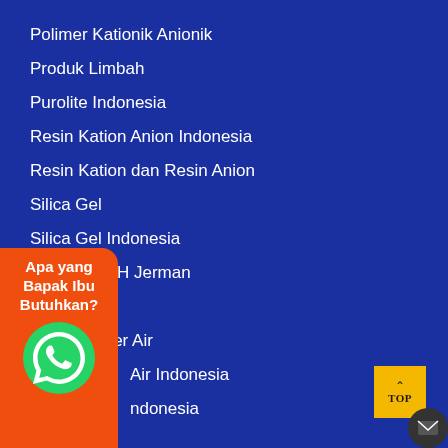Polimer Kationik Anionik
Produk Limbah
Purolite Indonesia
Resin Kation Anion Indonesia
Resin Kation dan Resin Anion
Silica Gel
Silica Gel Indonesia
Strainer KSH Jerman
Suqing
Tabung Filter Air
…Air Indonesia
…ndonesia
[Figure (infographic): Orange popup box with WhatsApp icon and text 'Apa yang Bapak Ibu Butuhkan?']
[Figure (infographic): Yellow TOP button with upward arrow, and dark mail icon circle]